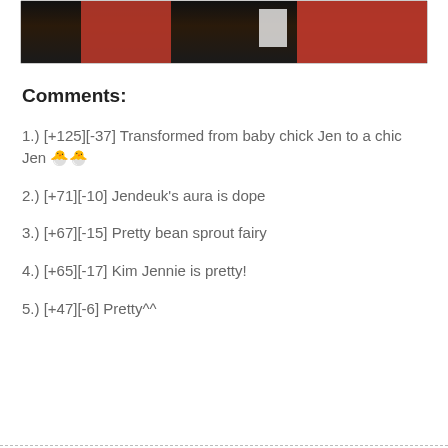[Figure (photo): Partial photo showing people in red and dark clothing, cropped at top of page]
Comments:
1.) [+125][-37] Transformed from baby chick Jen to a chic Jen 🐣🐣
2.) [+71][-10] Jendeuk's aura is dope
3.) [+67][-15] Pretty bean sprout fairy
4.) [+65][-17] Kim Jennie is pretty!
5.) [+47][-6] Pretty^^